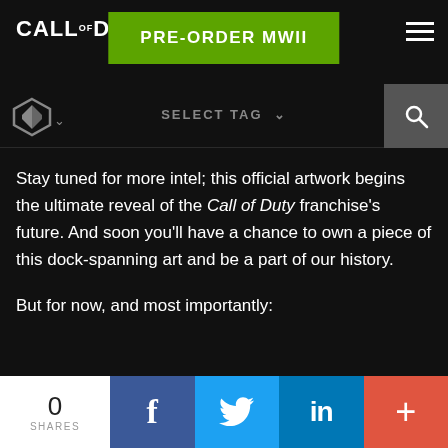CALL OF DUTY® — PRE-ORDER MWII
Stay tuned for more intel; this official artwork begins the ultimate reveal of the Call of Duty franchise's future. And soon you'll have a chance to own a piece of this dock-spanning art and be a part of our history.

But for now, and most importantly:

Stay frosty.
0 SHARES | Facebook | Twitter | LinkedIn | +